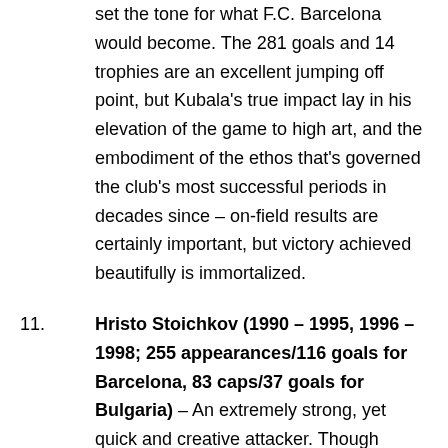status. As much as anyone in the club's history, Kubala set the tone for what F.C. Barcelona would become. The 281 goals and 14 trophies are an excellent jumping off point, but Kubala's true impact lay in his elevation of the game to high art, and the embodiment of the ethos that's governed the club's most successful periods in decades since – on-field results are certainly important, but victory achieved beautifully is immortalized.
Hristo Stoichkov (1990 – 1995, 1996 – 1998; 255 appearances/116 goals for Barcelona, 83 caps/37 goals for Bulgaria) – An extremely strong, yet quick and creative attacker. Though primarily a striker, Stoichkov possessed a playmaking streak, creating chances for teammates as either a secondary striker or an attacking midfielder. Revered in Barcelona, not only